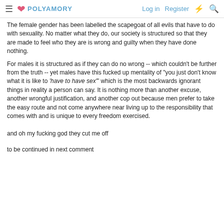POLYAMORY  Log in  Register
The female gender has been labelled the scapegoat of all evils that have to do with sexuality. No matter what they do, our society is structured so that they are made to feel who they are is wrong and guilty when they have done nothing.
For males it is structured as if they can do no wrong -- which couldn't be further from the truth -- yet males have this fucked up mentality of "you just don't know what it is like to 'have to have sex'" which is the most backwards ignorant things in reality a person can say. It is nothing more than another excuse, another wrongful justification, and another cop out because men prefer to take the easy route and not come anywhere near living up to the responsibility that comes with and is unique to every freedom exercised.
and oh my fucking god they cut me off
to be continued in next comment